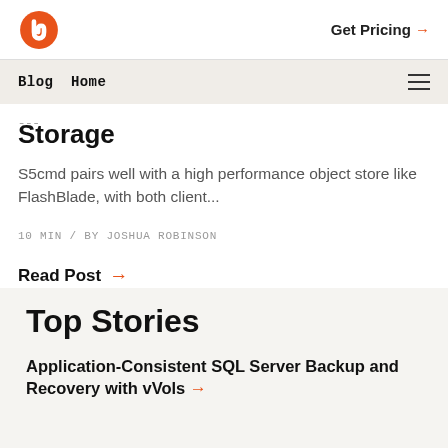Get Pricing →
Blog Home
Storage
S5cmd pairs well with a high performance object store like FlashBlade, with both client...
10 MIN / BY JOSHUA ROBINSON
Read Post →
Top Stories
Application-Consistent SQL Server Backup and Recovery with vVols →